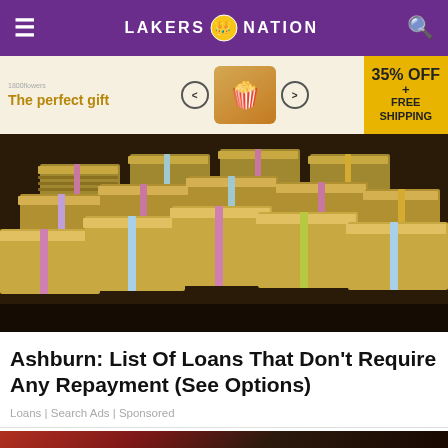LAKERS NATION
[Figure (screenshot): Advertisement banner: 'The perfect gift' with product carousel and '35% OFF + FREE SHIPPING' badge]
[Figure (photo): Large stacks of bundled US dollar bills piled on a wooden surface]
Ashburn: List Of Loans That Don't Require Any Repayment (See Options)
Loans | Search Ads | Sponsored
[Figure (photo): Partial view of a person's face, appearing to be a basketball-related figure on the Lakers Nation website]